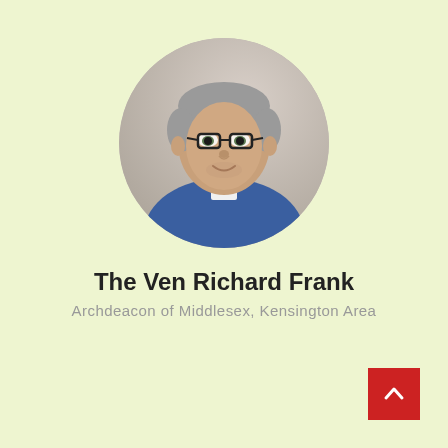[Figure (photo): Circular portrait photo of a middle-aged man with grey hair, glasses, and a blue clerical shirt with a white collar.]
The Ven Richard Frank
Archdeacon of Middlesex, Kensington Area
[Figure (other): Red square back-to-top button with a white upward-pointing chevron arrow.]